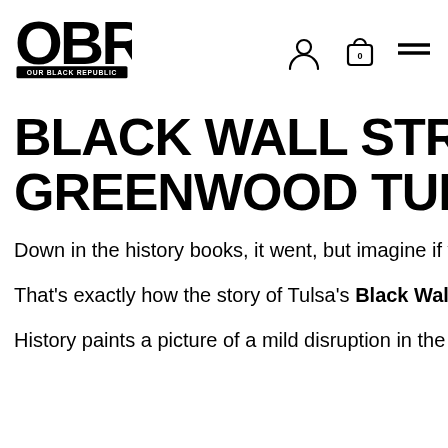OUR BLACK REPUBLIC — OBR logo with navigation icons
BLACK WALL STREET GREENWOOD TULSA
Down in the history books, it went, but imagine if your st
That's exactly how the story of Tulsa's Black Wall Street
History paints a picture of a mild disruption in the lives o